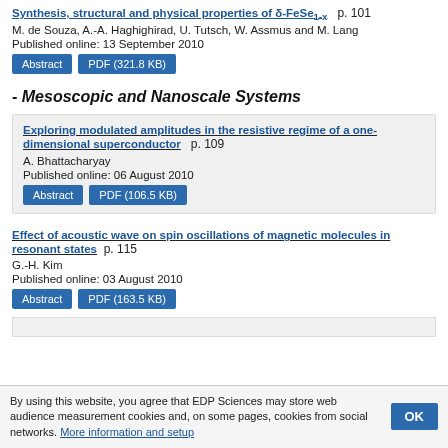Synthesis, structural and physical properties of δ-FeSe1-x   p. 101
M. de Souza, A.-A. Haghighirad, U. Tutsch, W. Assmus and M. Lang
Published online: 13 September 2010
- Mesoscopic and Nanoscale Systems
Exploring modulated amplitudes in the resistive regime of a one-dimensional superconductor   p. 109
A. Bhattacharyay
Published online: 06 August 2010
Effect of acoustic wave on spin oscillations of magnetic molecules in resonant states   p. 115
G.-H. Kim
Published online: 03 August 2010
By using this website, you agree that EDP Sciences may store web audience measurement cookies and, on some pages, cookies from social networks. More information and setup